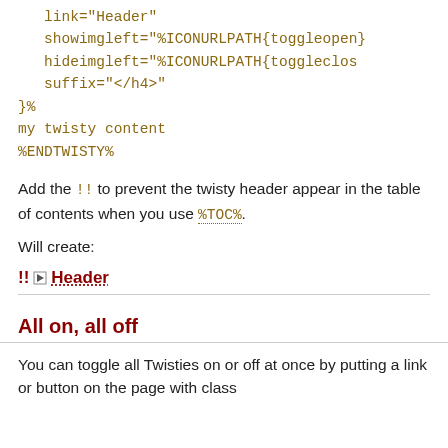link="Header"
   showimgleft="%ICONURLPATH{toggleopen
   hideimgleft="%ICONURLPATH{toggleclos
   suffix="</h4>"
}%
my twisty content
%ENDTWISTY%
Add the !! to prevent the twisty header appear in the table of contents when you use %TOC%.
Will create:
[Figure (other): Twisty demo showing '!! ▶ Header' with dotted underline, separated by horizontal rule]
All on, all off
You can toggle all Twisties on or off at once by putting a link or button on the page with class